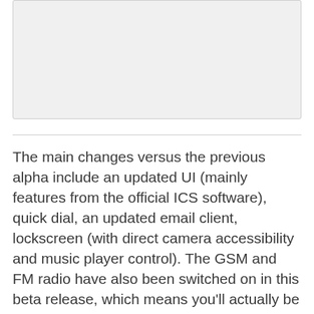[Figure (other): Gray placeholder image area at the top of the page]
The main changes versus the previous alpha include an updated UI (mainly features from the official ICS software), quick dial, an updated email client, lockscreen (with direct camera accessibility and music player control). The GSM and FM radio have also been switched on in this beta release, which means you'll actually be able to make calls without resorting to a mod.